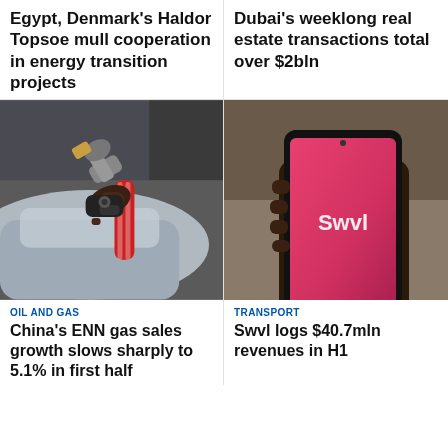Egypt, Denmark's Haldor Topsoe mull cooperation in energy transition projects
Dubai's weeklong real estate transactions total over $2bln
[Figure (photo): Person fueling a car at a gas station, holding a fuel nozzle attached to a silver car]
[Figure (photo): Hand holding a smartphone displaying a red/pink app screen with 'Swvl' logo text]
OIL AND GAS
China's ENN gas sales growth slows sharply to 5.1% in first half
TRANSPORT
Swvl logs $40.7mln revenues in H1